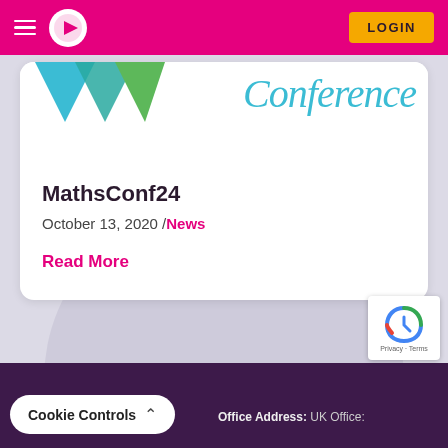[Figure (screenshot): Navigation bar with hamburger menu, circular logo with play button, and yellow LOGIN button on pink/magenta background]
[Figure (illustration): Conference card with colorful downward-pointing triangles (blue, teal, green) in top-left and 'Conference' written in cyan cursive font on the right]
MathsConf24
October 13, 2020 /News
Read More
Cookie Controls  Office Address: UK Office:
[Figure (logo): reCAPTCHA badge with Privacy - Terms text]